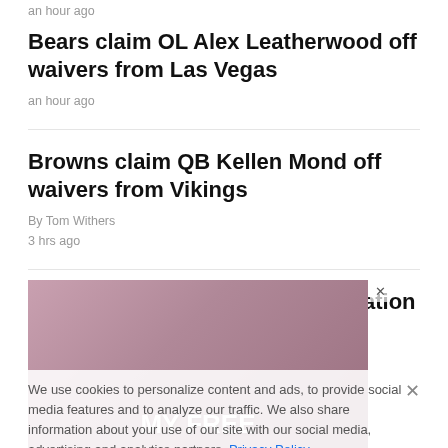an hour ago
Bears claim OL Alex Leatherwood off waivers from Las Vegas
an hour ago
Browns claim QB Kellen Mond off waivers from Vikings
By Tom Withers
3 hrs ago
Lawyers bash Goodell-led arbitration in NFL racial bias suit
By Larry Neumeister
3 hrs ago
[Figure (photo): Advertisement image with a woman and text 'MY FREE' at the bottom; partially obscured by cookie consent overlay]
We use cookies to personalize content and ads, to provide social media features and to analyze our traffic. We also share information about your use of our site with our social media, advertising and analytics partners. Privacy Policy
Cookies Settings   Accept All Cookies